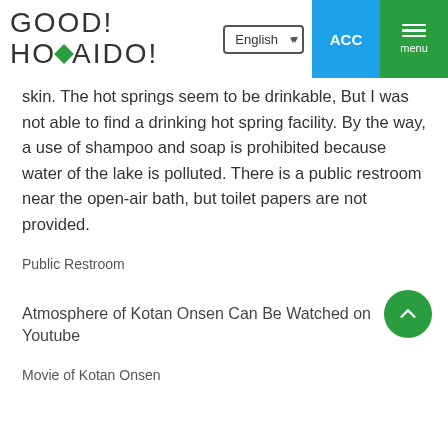GOOD! HOMAIDO! | English | ACC | menu
skin. The hot springs seem to be drinkable, But I was not able to find a drinking hot spring facility. By the way, a use of shampoo and soap is prohibited because water of the lake is polluted. There is a public restroom near the open-air bath, but toilet papers are not provided.
Public Restroom
Atmosphere of Kotan Onsen Can Be Watched on Youtube
Movie of Kotan Onsen